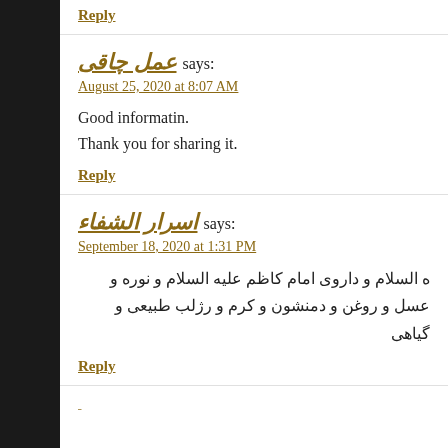Reply
عمل چاقی says:
August 25, 2020 at 8:07 AM
Good informatin.
Thank you for sharing it.
Reply
اسرار الشفاء says:
September 18, 2020 at 1:31 PM
ه السلام و داروی امام کاظم علیه السلام و نوره و عسل و روغن و دمنشون و کرم و رژلب طبیعی و گیاهی
Reply